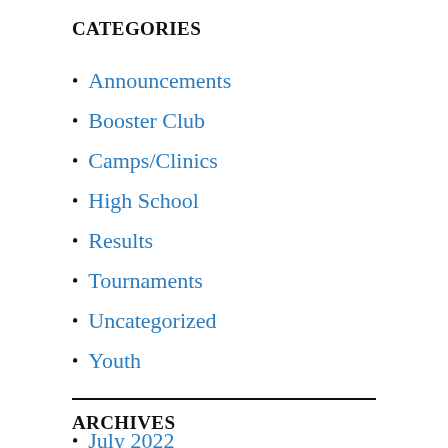CATEGORIES
Announcements
Booster Club
Camps/Clinics
High School
Results
Tournaments
Uncategorized
Youth
ARCHIVES
July 2022
May